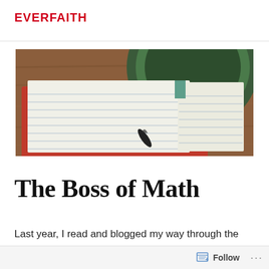EVERFAITH
[Figure (photo): Top-down view of an open red notebook with lined pages and a pen, alongside a dark green ceramic bowl on a wooden surface.]
The Boss of Math
Last year, I read and blogged my way through the
Follow ...